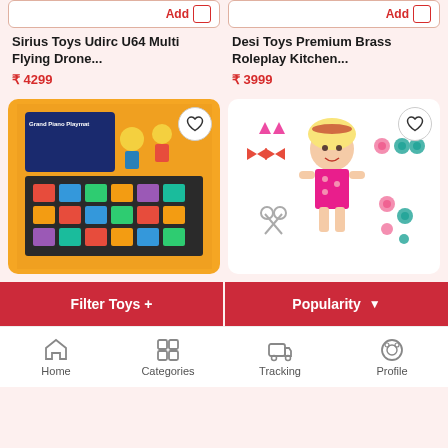[Figure (screenshot): Partial view of two product cards at top with Add buttons visible: Sirius Toys Udirc U64 Multi Flying Drone and Desi Toys Premium Brass Roleplay Kitchen]
Sirius Toys Udirc U64 Multi Flying Drone...
₹ 4299
Desi Toys Premium Brass Roleplay Kitchen...
₹ 3999
[Figure (photo): Grand Piano Playmat toy product image on orange box with children playing]
[Figure (photo): Baby doll with blonde hair in pink dress with hair accessories set]
Filter Toys +
Popularity
Home
Categories
Tracking
Profile